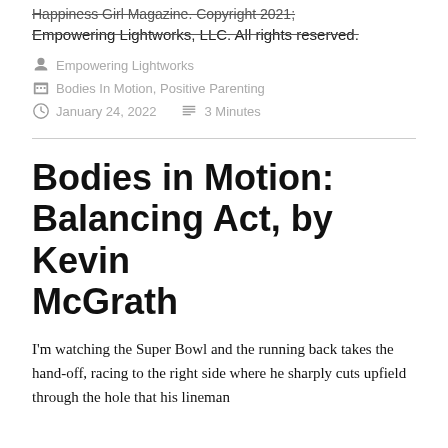Happiness Girl Magazine. Copyright 2021; Empowering Lightworks, LLC. All rights reserved.
Empowering Lightworks
Bodies In Motion, Positive Parenting
January 24, 2022   3 Minutes
Bodies in Motion: Balancing Act, by Kevin McGrath
I'm watching the Super Bowl and the running back takes the hand-off, racing to the right side where he sharply cuts upfield through the hole that his lineman